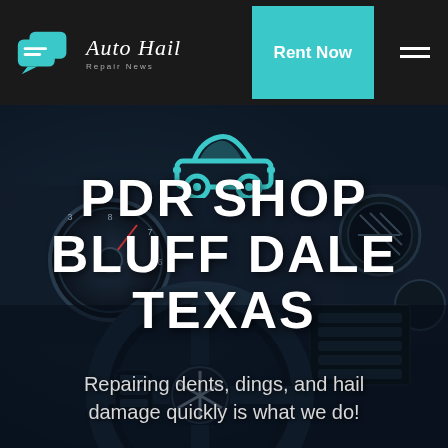[Figure (logo): Auto Hail Repair News logo with teal speech bubble icons and italic white text]
Rent Now
[Figure (photo): Dark car interior showing steering wheel, dashboard gauges and controls with blue tint overlay]
[Figure (illustration): Teal car icon silhouette]
PDR SHOP BLUFF DALE TEXAS
Repairing dents, dings, and hail damage quickly is what we do!